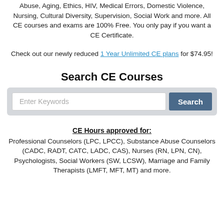Abuse, Aging, Ethics, HIV, Medical Errors, Domestic Violence, Nursing, Cultural Diversity, Supervision, Social Work and more. All CE courses and exams are 100% Free. You only pay if you want a CE Certificate.
Check out our newly reduced 1 Year Unlimited CE plans for $74.95!
Search CE Courses
CE Hours approved for: Professional Counselors (LPC, LPCC), Substance Abuse Counselors (CADC, RADT, CATC, LADC, CAS), Nurses (RN, LPN, CN), Psychologists, Social Workers (SW, LCSW), Marriage and Family Therapists (LMFT, MFT, MT) and more.